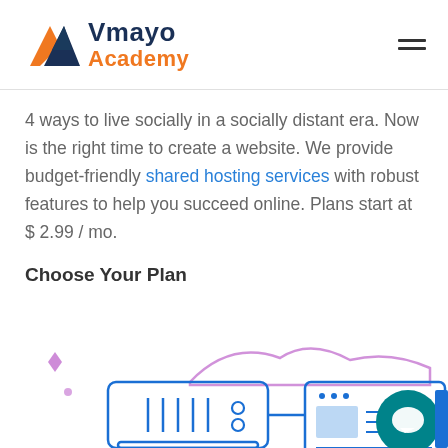Vmayo Academy
4 ways to live socially in a socially distant era. Now is the right time to create a website. We provide budget-friendly shared hosting services with robust features to help you succeed online. Plans start at $ 2.99 / mo.
Choose Your Plan
[Figure (illustration): Illustration of a server rack and a web browser window with layout elements, with purple cloud/sparkle decorations and a teal chat bubble icon in the lower right.]